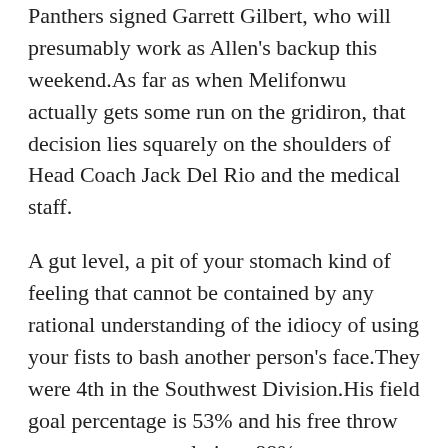Panthers signed Garrett Gilbert, who will presumably work as Allen's backup this weekend.As far as when Melifonwu actually gets some run on the gridiron, that decision lies squarely on the shoulders of Head Coach Jack Del Rio and the medical staff.
A gut level, a pit of your stomach kind of feeling that cannot be contained by any rational understanding of the idiocy of using your fists to bash another person's face.They were 4th in the Southwest Division.His field goal percentage is 53% and his free throw percentage currently is at 88%.
They are averaging 102 points per game and surrendering 105, good for a point differential of -3.He has 5 hits this year along with 1 run scored and 1 RBI.Louis has allowed 8 hits per nine innings while striking out 7 batters per